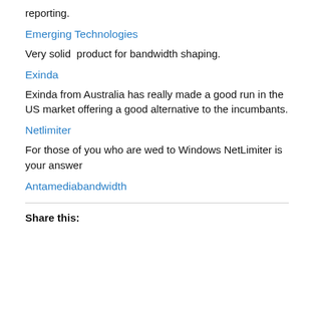reporting.
Emerging Technologies
Very solid  product for bandwidth shaping.
Exinda
Exinda from Australia has really made a good run in the US market offering a good alternative to the incumbants.
Netlimiter
For those of you who are wed to Windows NetLimiter is your answer
Antamediabandwidth
Share this: